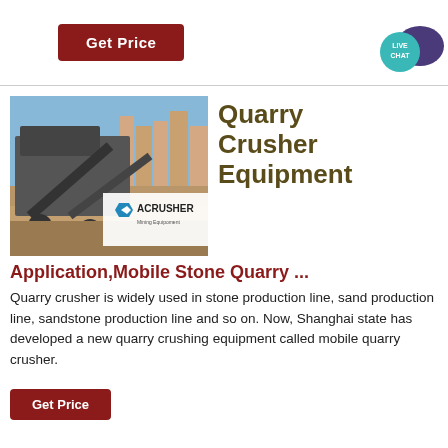Get Price
[Figure (screenshot): Live chat bubble icon with teal and purple speech bubbles and text LIVE CHAT]
[Figure (photo): Mobile stone quarry crusher machine on a construction site with buildings in background, with ACRUSHER Mining Equipment logo overlay]
Quarry Crusher Equipment
Application,Mobile Stone Quarry ...
Quarry crusher is widely used in stone production line, sand production line, sandstone production line and so on. Now, Shanghai state has developed a new quarry crushing equipment called mobile quarry crusher.
Get Price